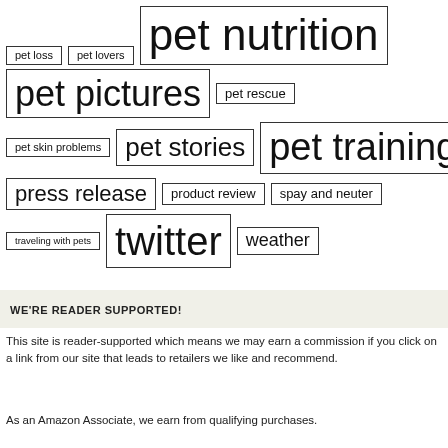[Figure (infographic): Tag cloud with bordered tags of varying font sizes: pet loss, pet lovers, pet nutrition, pet pictures, pet rescue, pet skin problems, pet stories, pet training, press release, product review, spay and neuter, traveling with pets, twitter, weather]
WE'RE READER SUPPORTED!
This site is reader-supported which means we may earn a commission if you click on a link from our site that leads to retailers we like and recommend.
As an Amazon Associate, we earn from qualifying purchases.